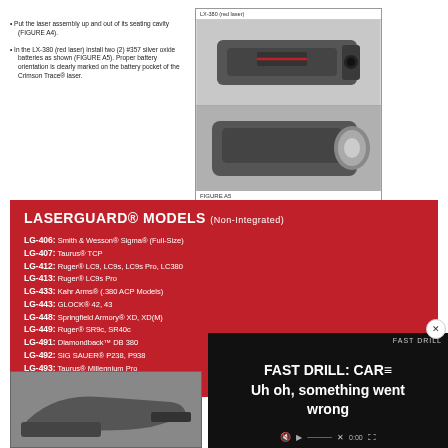Put the laser assembly up and out of its seating cavity (FIGURE A4).
[Figure (photo): LX-380 red laser device shown from two angles with FIGURE A5 label]
In the LX-380 (red laser) install two (2) #357 silver oxide batteries as shown (FIGURE A5). Proper battery orientation is clearly marked on the battery pocket of the Crimson Trace® laser.
LASERGUARD® MODELS (Non-Integrated)
LG-406: Smith & Wesson® Sigma® (Full-Size)
LG-407: Taurus® TCP
LG-412: Ruger® LC9, LC9s, LC9s Pro, LC380
LG-413: Ruger® LC9s Pro
LG-433: Kahr Arms® (.380 ACP Models)
LG-443: GLOCK® 42, 43
LG-448: Springfield Armory® XD, XD(M)
LG-449: Ruger® SR9c, SR40c
LG-491: Diamondback™ DB 380
LG-492: SIG SAUER® P238, P938
LG-493: Taurus® Millennium Pro
LG-497: Ruger® LCP II
SERIAL NUMBER IDENT…
[Figure (photo): Firearm shown at bottom left of page]
[Figure (screenshot): Video overlay showing error message: FAST DRILL: CAR... Uh oh, something went wrong, with video controls]